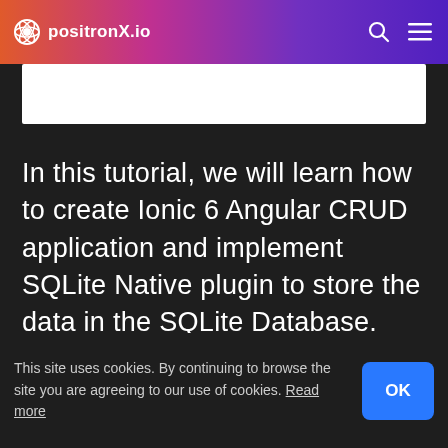positronX.io
[Figure (screenshot): White image/content area bar below the header navigation]
In this tutorial, we will learn how to create Ionic 6 Angular CRUD application and implement SQLite Native plugin to store the data in the SQLite Database.
This site uses cookies. By continuing to browse the site you are agreeing to our use of cookies. Read more